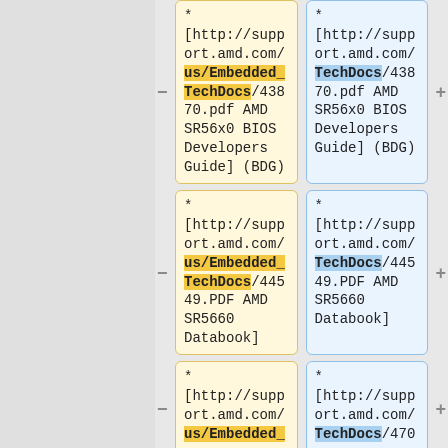* [http://support.amd.com/us/Embedded_TechDocs/43870.pdf AMD SR56x0 BIOS Developers Guide] (BDG) (removed version)
* [http://support.amd.com/us/TechDocs/43870.pdf AMD SR56x0 BIOS Developers Guide] (BDG) (added version)
* [http://support.amd.com/us/Embedded_TechDocs/44549.PDF AMD SR5660 Databook] (removed version)
* [http://support.amd.com/us/TechDocs/44549.PDF AMD SR5660 Databook] (added version)
* [http://support.amd.com/us/Embedded_ (removed version, partial)
* [http://support.amd.com/us/TechDocs/470 (added version, partial)